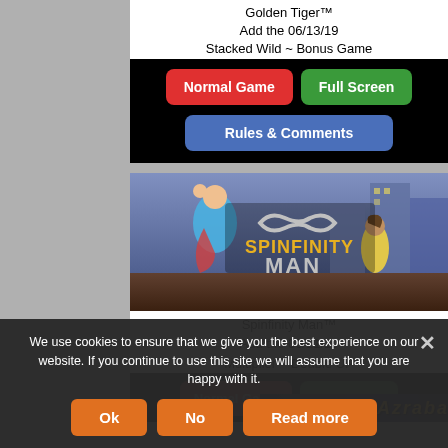Golden Tiger™
Add the 06/13/19
Stacked Wild ~ Bonus Game
[Figure (screenshot): Buttons section with Normal Game (red), Full Screen (green), and Rules & Comments (blue) on black background]
[Figure (screenshot): Spinfinity Man slot game promotional image showing a superhero and a woman in a city setting with the Spinfinity Man logo]
Spinfinity Man™
Add the 06/11/19
Multiplier ~ Double UP
[Figure (screenshot): Partially visible buttons: Normal Game (red, dimmed) and Full Screen (green, dimmed) on black background]
We use cookies to ensure that we give you the best experience on our website. If you continue to use this site we will assume that you are happy with it.
[Figure (screenshot): Cookie consent banner with Ok, No, and Read more buttons in orange]